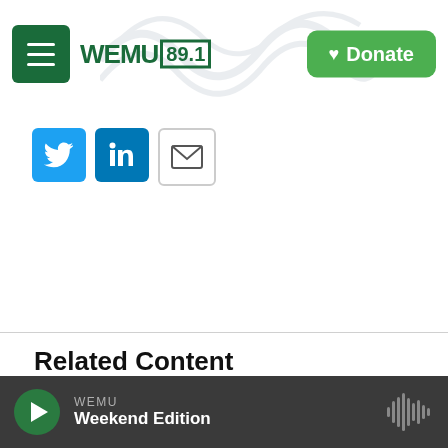WEMU 89.1 — Donate
[Figure (logo): WEMU 89.1 radio station logo with green menu button and green Donate button]
[Figure (infographic): Social share buttons: Twitter (blue bird), LinkedIn (blue in), Email (envelope icon)]
Related Content
[Figure (photo): Partial photo of a studio or equipment, showing ceiling and audio equipment]
WEMU — Weekend Edition (audio player)